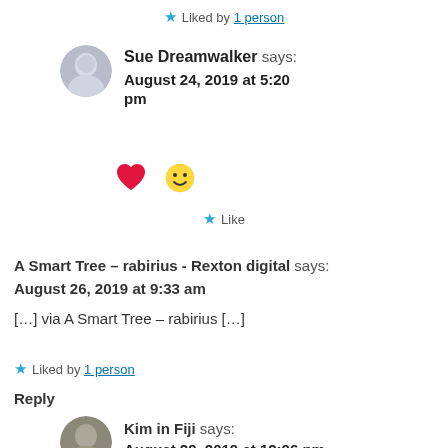Liked by 1 person
Sue Dreamwalker says: August 24, 2019 at 5:20 pm
[Figure (other): Red heart emoji and smiley face emoji]
Like
A Smart Tree – rabirius - Rexton digital says: August 26, 2019 at 9:33 am
[…] via A Smart Tree – rabirius […]
Liked by 1 person
Reply
Kim in Fiji says: August 29, 2019 at 12:06 pm